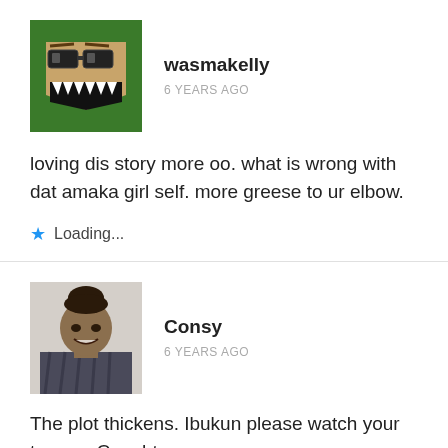[Figure (illustration): Green square avatar with cartoon monster face (triangular jaw, big teeth, sunglasses-like eyes) for user wasmakelly]
wasmakelly
6 YEARS AGO
loving dis story more oo. what is wrong with dat amaka girl self. more greese to ur elbow.
Loading...
[Figure (photo): Profile photo of Consy - a woman with hair up, smiling, wearing a light-colored top]
Consy
6 YEARS AGO
The plot thickens. Ibukun please watch your tenses. Caught